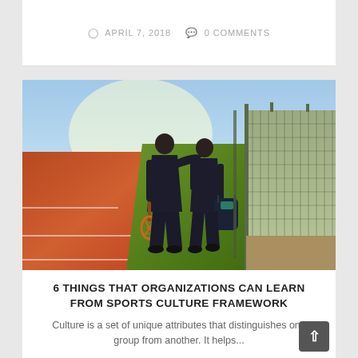APRIL 7, 2018  0 COMMENTS
[Figure (photo): Two businessmen in suits walking away from camera along a green tennis court beside a tall green chain-link fence, one holding a tennis racket, viewed from behind on a sunny day.]
6 THINGS THAT ORGANIZATIONS CAN LEARN FROM SPORTS CULTURE FRAMEWORK
Culture is a set of unique attributes that distinguishes one group from another. It helps...